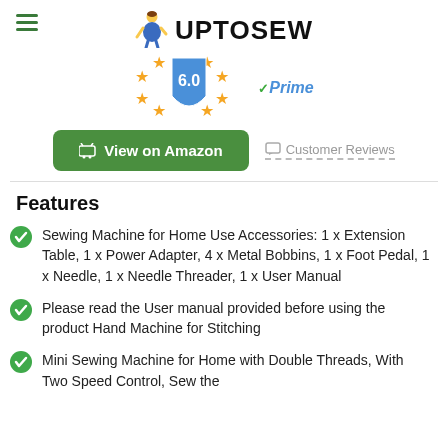UPTOSEW
[Figure (logo): Rating shield with stars showing 6.0 and Amazon Prime badge]
View on Amazon | Customer Reviews
Features
Sewing Machine for Home Use Accessories: 1 x Extension Table, 1 x Power Adapter, 4 x Metal Bobbins, 1 x Foot Pedal, 1 x Needle, 1 x Needle Threader, 1 x User Manual
Please read the User manual provided before using the product Hand Machine for Stitching
Mini Sewing Machine for Home with Double Threads, With Two Speed Control, Sew the